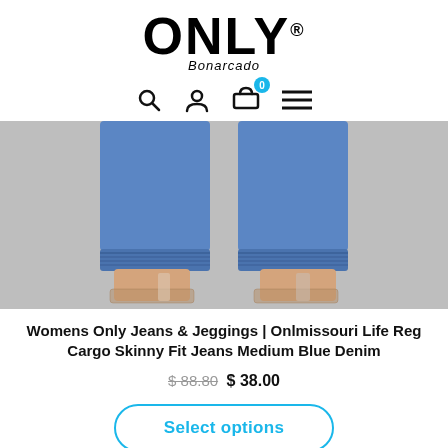[Figure (logo): ONLY brand logo with 'Bonarcado' subtitle in italic]
[Figure (infographic): Navigation icons: search, user, shopping bag with 0 badge, hamburger menu]
[Figure (photo): Product photo showing lower legs of model wearing blue denim jeans with cuffed ankles and clear heeled sandals on grey background]
Womens Only Jeans & Jeggings | Onlmissouri Life Reg Cargo Skinny Fit Jeans Medium Blue Denim
$ 88.80 $ 38.00
Select options